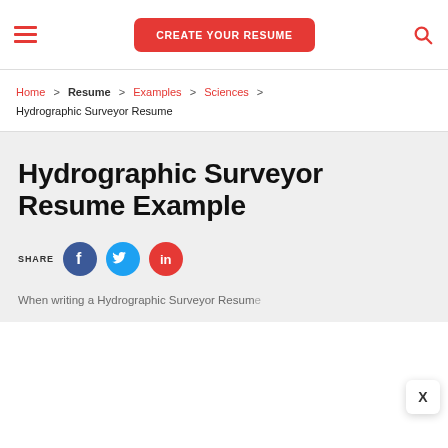CREATE YOUR RESUME
Home > Resume > Examples > Sciences > Hydrographic Surveyor Resume
Hydrographic Surveyor Resume Example
SHARE
When writing a Hydrographic Surveyor Resume...